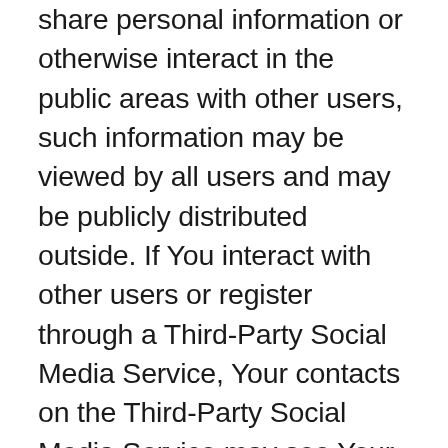share personal information or otherwise interact in the public areas with other users, such information may be viewed by all users and may be publicly distributed outside. If You interact with other users or register through a Third-Party Social Media Service, Your contacts on the Third-Party Social Media Service may see Your name, profile, pictures and description of Your activity. Similarly, other users will be able to view descriptions of Your activity, communicate with You and view Your